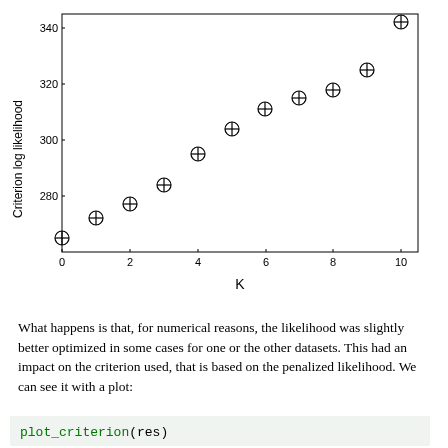[Figure (scatter-plot): ]
What happens is that, for numerical reasons, the likelihood was slightly better optimized in some cases for one or the other datasets. This had an impact on the criterion used, that is based on the penalized likelihood. We can see it with a plot:
plot_criterion(res)